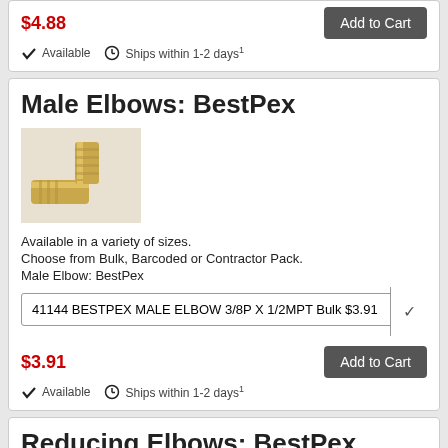$4.88
Available  Ships within 1-2 days¹
Male Elbows: BestPex
[Figure (photo): Brass male elbow PEX fitting, gold-colored metal L-shaped connector with threaded end]
Available in a variety of sizes.
Choose from Bulk, Barcoded or Contractor Pack.
Male Elbow: BestPex
41144 BESTPEX MALE ELBOW 3/8P X 1/2MPT Bulk $3.91
$3.91
Available  Ships within 1-2 days¹
Reducing Elbows: BestPex
[Figure (photo): Brass reducing elbow PEX fitting, gold-colored metal L-shaped connector]
Available in a variety of sizes.
Choose from Bulk, Barcoded or Contractor Pack.
Reducing Elbow: BestPex
41143 BESTPEX ELBOW 3/4P X 1/2P Bulk $2.27